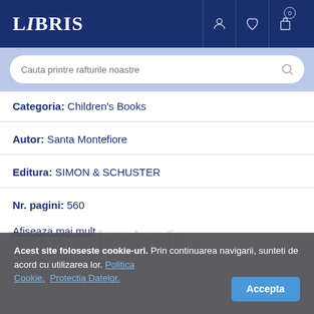LIBRIS
Categoria: Children's Books
Autor: Santa Montefiore
Editura: SIMON & SCHUSTER
Nr. pagini: 560
Afiseaza mai mult
Acest site foloseste cookie-uri. Prin continuarea navigarii, sunteti de acord cu utilizarea lor. Politica Cookie. Protectia Datelor. Accepta